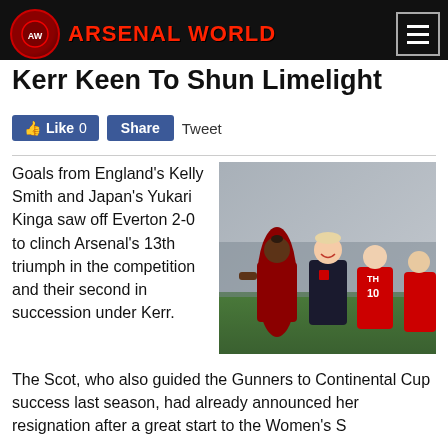Arsenal World
Kerr Keen To Shun Limelight
Like 0   Share   Tweet
[Figure (photo): Arsenal women's football players in red kit celebrating with a coach/manager on the pitch]
Goals from England's Kelly Smith and Japan's Yukari Kinga saw off Everton 2-0 to clinch Arsenal's 13th triumph in the competition and their second in succession under Kerr.
The Scot, who also guided the Gunners to Continental Cup success last season, had already announced her resignation after a great start to the Women's S...